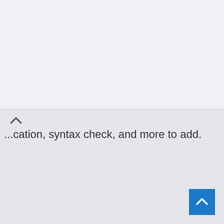...cation, syntax check, and more to add.
[Figure (screenshot): Orange button with info icon labeled SHOW DETAILS]
ADVERTISEMENT
[Figure (screenshot): Blue back-to-top button with upward chevron arrow in bottom right corner]